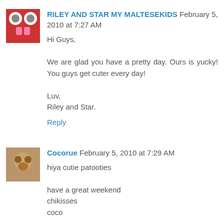RILEY AND STAR MY MALTESEKIDS February 5, 2010 at 7:27 AM
Hi Guys,

We are glad you have a pretty day. Our's is yucky! You guys get cuter every day!

Luv,
Riley and Star.
Reply
Cocorue February 5, 2010 at 7:29 AM
hiya cutie patooties

have a great weekend
chikisses
coco
Reply